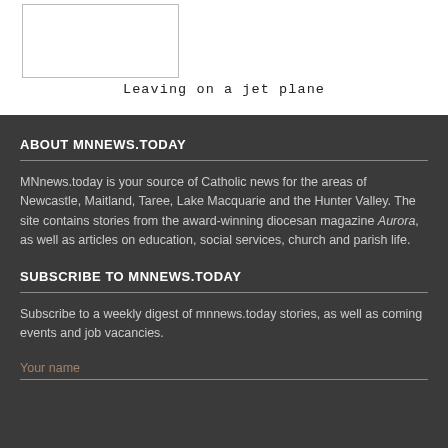[Figure (photo): Image placeholder box in upper left area]
Leaving on a jet plane
ABOUT MNNEWS.TODAY
MNnews.today is your source of Catholic news for the areas of Newcastle, Maitland, Taree, Lake Macquarie and the Hunter Valley. The site contains stories from the award-winning diocesan magazine Aurora, as well as articles on education, social services, church and parish life.
SUBSCRIBE TO MNNEWS.TODAY
Subscribe to a weekly digest of mnnews.today stories, as well as coming events and job vacancies.
Your name